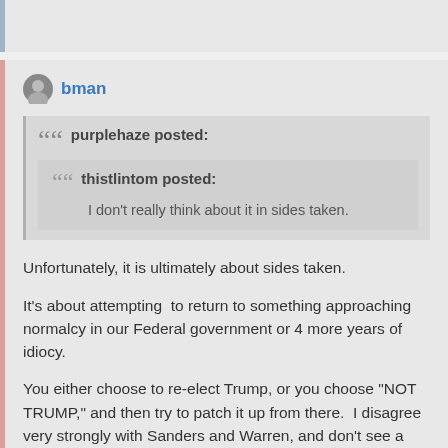bman
purplehaze posted:
thistlintom posted:
I don't really think about it in sides taken.
Unfortunately, it is ultimately about sides taken.
It's about attempting  to return to something approaching normalcy in our Federal government or 4 more years of idiocy.
You either choose to re-elect Trump, or you choose "NOT TRUMP," and then try to patch it up from there.  I disagree very strongly with Sanders and Warren, and don't see a "can't lose"